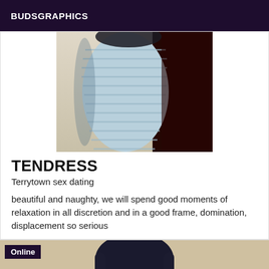BUDSGRAPHICS
[Figure (photo): Close-up photo of a person wearing a light blue ribbed dress, with a reddish-brown background visible on the right side]
TENDRESS
Terrytown sex dating
beautiful and naughty, we will spend good moments of relaxation in all discretion and in a good frame, domination, displacement so serious
[Figure (photo): Photo of a person with dark blue/black hair, seen from behind, with an 'Online' badge overlay]